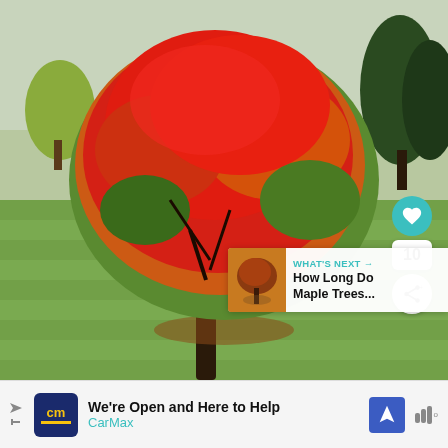[Figure (photo): Photograph of a large autumn maple tree with brilliant red, orange and green foliage standing in the middle of a mowed green golf-course-like lawn. Background shows green and bare deciduous trees under an overcast sky. Fallen leaves are scattered at the base of the tree trunk. Social-media UI overlaid on the right edge: a teal heart/like button, a numeric badge showing '10', and a white share button.]
[Figure (infographic): What's Next overlay in bottom-right of photo: small thumbnail of a maple tree, label 'WHAT'S NEXT →', title 'How Long Do Maple Trees...']
We're Open and Here to Help
CarMax